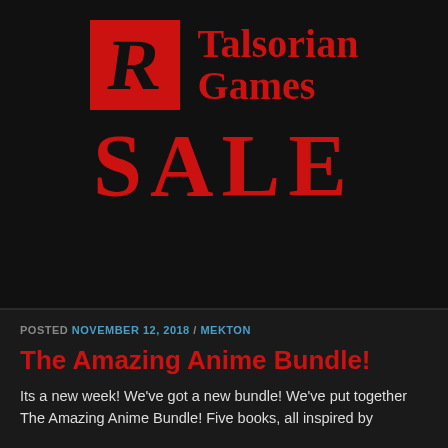[Figure (logo): R Talsorian Games SALE logo banner on black background. Red square with black R letter, red serif text 'Talsorian Games', and large red 'SALE' text below.]
POSTED NOVEMBER 12, 2018 / MEKTON
The Amazing Anime Bundle!
Its a new week! We've got a new bundle! We've put together The Amazing Anime Bundle! Five books, all inspired by